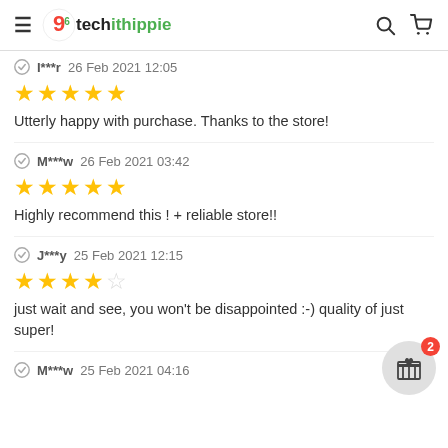9techithippie — navigation header with search and cart icons
I***r 26 Feb 2021 12:05 — ★★★★★ — Utterly happy with purchase. Thanks to the store!
M***w 26 Feb 2021 03:42 — ★★★★★ — Highly recommend this ! + reliable store!!
J***y 25 Feb 2021 12:15 — ★★★★☆ — just wait and see, you won't be disappointed :-) quality of just super!
M***w 25 Feb 2021 04:16